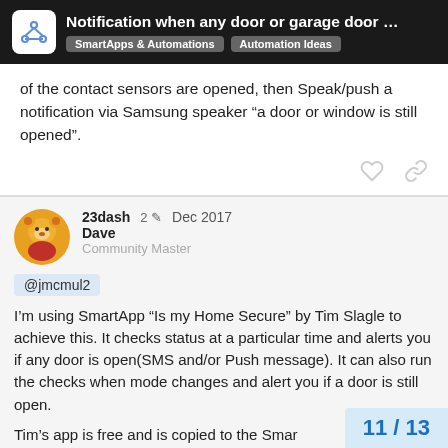Notification when any door or garage door … | SmartApps & Automations | Automation Ideas
of the contact sensors are opened, then Speak/push a notification via Samsung speaker “a door or window is still opened”.
23dash  2 ✎  Dec 2017
Dave
Community Master
@jmcmul2
I’m using SmartApp “Is my Home Secure” by Tim Slagle to achieve this. It checks status at a particular time and alerts you if any door is open(SMS and/or Push message). It can also run the checks when mode changes and alert you if a door is still open.
Tim’s app is free and is copied to the Smar… interface ST web interface … (then you c…
11 / 13